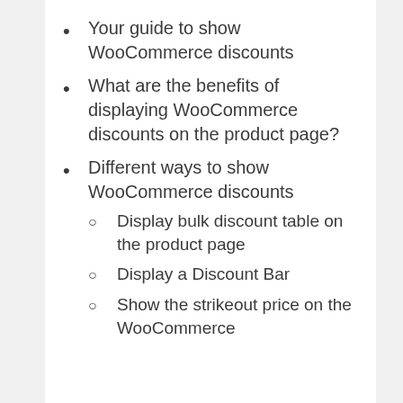Your guide to show WooCommerce discounts
What are the benefits of displaying WooCommerce discounts on the product page?
Different ways to show WooCommerce discounts
Display bulk discount table on the product page
Display a Discount Bar
Show the strikeout price on the WooCommerce